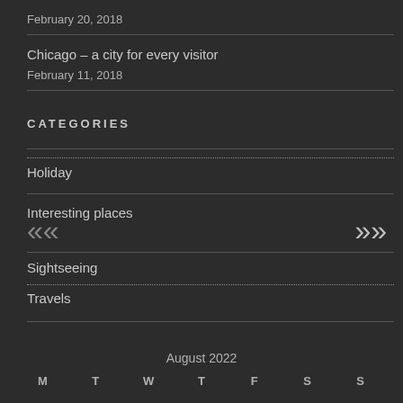February 20, 2018
Chicago – a city for every visitor
February 11, 2018
CATEGORIES
Holiday
Interesting places
Sightseeing
Travels
August 2022
M  T  W  T  F  S  S